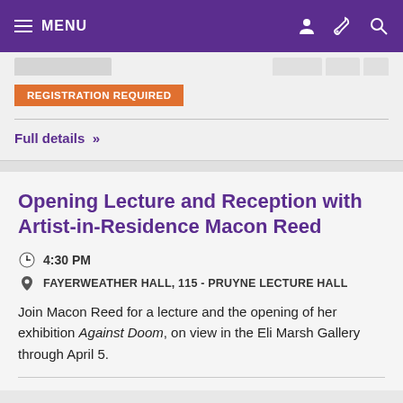MENU
REGISTRATION REQUIRED
Full details »
Opening Lecture and Reception with Artist-in-Residence Macon Reed
4:30 PM
FAYERWEATHER HALL, 115 - PRUYNE LECTURE HALL
Join Macon Reed for a lecture and the opening of her exhibition Against Doom, on view in the Eli Marsh Gallery through April 5.